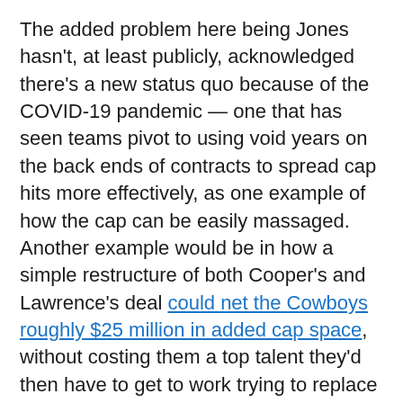The added problem here being Jones hasn't, at least publicly, acknowledged there's a new status quo because of the COVID-19 pandemic — one that has seen teams pivot to using void years on the back ends of contracts to spread cap hits more effectively, as one example of how the cap can be easily massaged. Another example would be in how a simple restructure of both Cooper's and Lawrence's deal could net the Cowboys roughly $25 million in added cap space, without costing them a top talent they'd then have to get to work trying to replace versus focusing on other high-end tasks in free agency and the 2022 NFL Draft.
Things to consider, heavily, along with the fact the Cowboys don't actually need gobs and gobs of cap space for free agency, because